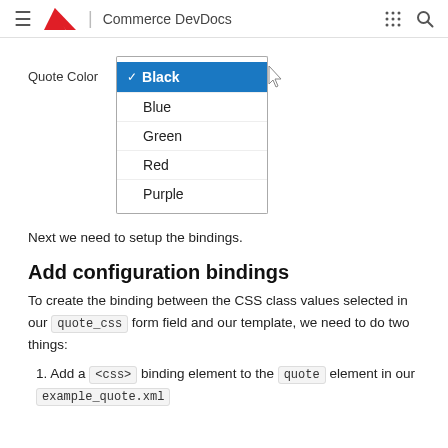Adobe | Commerce DevDocs
[Figure (screenshot): A dropdown menu showing 'Quote Color' field with options: Black (selected, highlighted in blue), Blue, Green, Red, Purple. A cursor pointer is hovering over the Black option.]
Next we need to setup the bindings.
Add configuration bindings
To create the binding between the CSS class values selected in our quote_css form field and our template, we need to do two things:
Add a <css> binding element to the quote element in our example_quote.xml